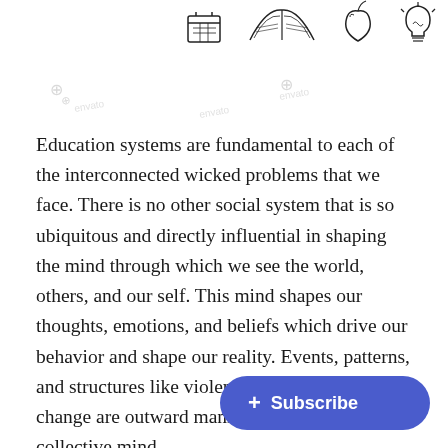[Figure (illustration): Top portion shows hand-drawn doodle illustrations of educational/knowledge items: a calendar/notebook, an open book, an apple, a lightbulb. Faint watermark/logo marks appear across the image.]
Education systems are fundamental to each of the interconnected wicked problems that we face. There is no other social system that is so ubiquitous and directly influential in shaping the mind through which we see the world, others, and our self. This mind shapes our thoughts, emotions, and beliefs which drive our behavior and shape our reality. Events, patterns, and structures like violence, inequity, or climate change are outward manifestations of a collective mind.
From this perspective, the greatest th… educational in nature. Why? These i… complex social and environmental problems are caused